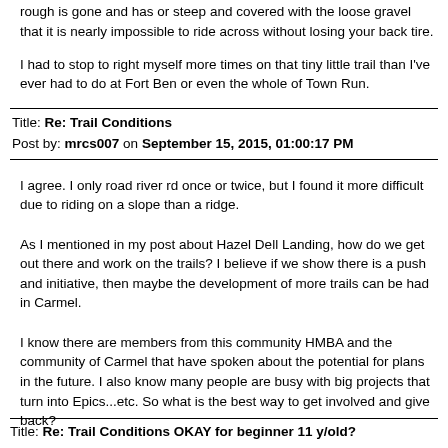rough is gone and has or steep and covered with the loose gravel that it is nearly impossible to ride across without losing your back tire.
I had to stop to right myself more times on that tiny little trail than I've ever had to do at Fort Ben or even the whole of Town Run.
Title: Re: Trail Conditions
Post by: mrcs007 on September 15, 2015, 01:00:17 PM
I agree.  I only road river rd once or twice, but I found it more difficult due to riding on a slope than a ridge.
As I mentioned in my post about Hazel Dell Landing, how do we get out there and work on the trails?  I believe if we show there is a push and initiative, then maybe the development of more trails can be had in Carmel.
I know there are members from this community HMBA and the community of Carmel that have spoken about the potential for plans in the future.  I also know many people are busy with big projects that turn into Epics...etc.  So what is the best way to get involved and give back?
Title: Re: Trail Conditions OKAY for beginner 11 y/old?